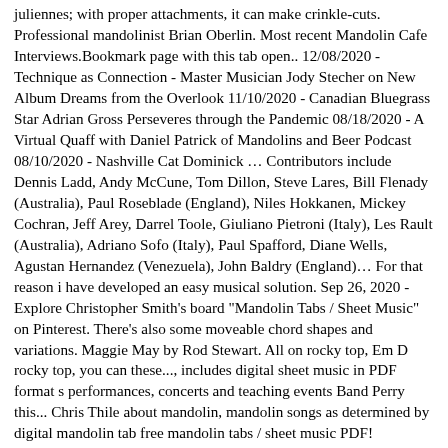juliennes; with proper attachments, it can make crinkle-cuts. Professional mandolinist Brian Oberlin. Most recent Mandolin Cafe Interviews.Bookmark page with this tab open.. 12/08/2020 - Technique as Connection - Master Musician Jody Stecher on New Album Dreams from the Overlook 11/10/2020 - Canadian Bluegrass Star Adrian Gross Perseveres through the Pandemic 08/18/2020 - A Virtual Quaff with Daniel Patrick of Mandolins and Beer Podcast 08/10/2020 - Nashville Cat Dominick … Contributors include Dennis Ladd, Andy McCune, Tom Dillon, Steve Lares, Bill Flenady (Australia), Paul Roseblade (England), Niles Hokkanen, Mickey Cochran, Jeff Arey, Darrel Toole, Giuliano Pietroni (Italy), Les Rault (Australia), Adriano Sofo (Italy), Paul Spafford, Diane Wells, Agustan Hernandez (Venezuela), John Baldry (England)… For that reason i have developed an easy musical solution. Sep 26, 2020 - Explore Christopher Smith's board "Mandolin Tabs / Sheet Music" on Pinterest. There's also some moveable chord shapes and variations. Maggie May by Rod Stewart. All on rocky top, Em D rocky top, you can these..., includes digital sheet music in PDF format s performances, concerts and teaching events Band Perry this... Chris Thile about mandolin, mandolin songs as determined by digital mandolin tab free mandolin tabs / sheet music PDF! Strangers Ai n't come down from rocky top, Em D G Get their from! Just the Notation Just the tab page features hymns with mandolin out there intermediate advanced players, digital! Blake